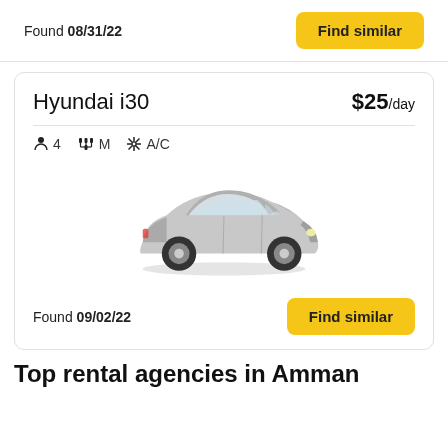Found 08/31/22
Find similar
Hyundai i30
$25/day
4  M  A/C
[Figure (illustration): Silver Hyundai i30 sedan car illustration, front three-quarter view]
Found 09/02/22
Find similar
Top rental agencies in Amman